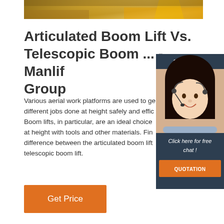[Figure (photo): Partial view of a construction/aerial lift machine at the top of the page]
Articulated Boom Lift Vs. Telescopic Boom ... - Manlif Group
Various aerial work platforms are used to ge different jobs done at height safely and effic Boom lifts, in particular, are an ideal choice at height with tools and other materials. Fin difference between the articulated boom lift telescopic boom lift.
[Figure (infographic): 24/7 Online chat widget sidebar with a customer service representative photo, 'Click here for free chat!' text, and a QUOTATION button]
Get Price